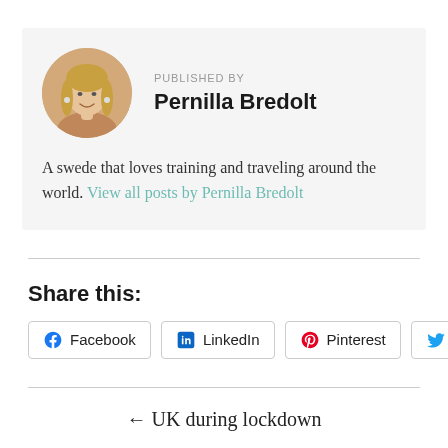PUBLISHED BY
Pernilla Bredolt
A swede that loves training and traveling around the world. View all posts by Pernilla Bredolt
Share this:
Facebook
LinkedIn
Pinterest
Twitter
← UK during lockdown